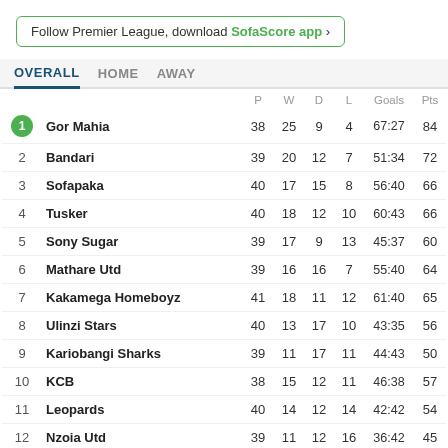Follow Premier League, download SofaScore app ›
OVERALL   HOME   AWAY
|  |  | P | W | D | L | Goals | Pts |
| --- | --- | --- | --- | --- | --- | --- | --- |
| 1 | Gor Mahia | 38 | 25 | 9 | 4 | 67:27 | 84 |
| 2 | Bandari | 39 | 20 | 12 | 7 | 51:34 | 72 |
| 3 | Sofapaka | 40 | 17 | 15 | 8 | 56:40 | 66 |
| 4 | Tusker | 40 | 18 | 12 | 10 | 60:43 | 66 |
| 5 | Sony Sugar | 39 | 17 | 9 | 13 | 45:37 | 60 |
| 6 | Mathare Utd | 39 | 16 | 16 | 7 | 55:40 | 64 |
| 7 | Kakamega Homeboyz | 41 | 18 | 11 | 12 | 61:40 | 65 |
| 8 | Ulinzi Stars | 40 | 13 | 17 | 10 | 43:35 | 56 |
| 9 | Kariobangi Sharks | 39 | 11 | 17 | 11 | 44:43 | 50 |
| 10 | KCB | 38 | 15 | 12 | 11 | 46:38 | 57 |
| 11 | Leopards | 40 | 14 | 12 | 14 | 42:42 | 54 |
| 12 | Nzoia Utd | 39 | 11 | 12 | 16 | 36:42 | 45 |